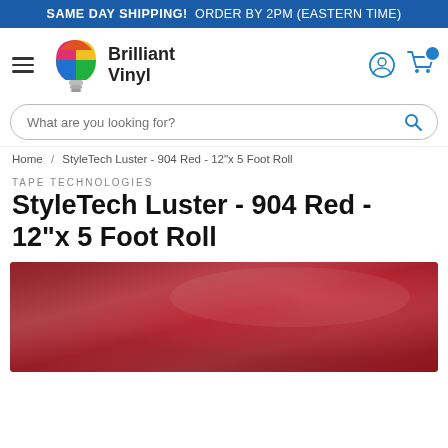SAME DAY SHIPPING! ORDER BY 2PM (EASTERN TIME)
[Figure (logo): Brilliant Vinyl logo with colorful lightbulb icon and navigation hamburger menu, user account and cart icons]
What are you looking for?
Home / StyleTech Luster - 904 Red - 12"x 5 Foot Roll
TAPE TECHNOLOGIES
StyleTech Luster - 904 Red - 12"x 5 Foot Roll
[Figure (photo): Close-up photo of red luster vinyl material with shiny metallic red surface]